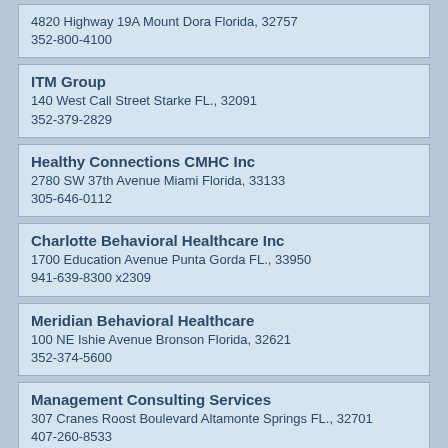4820 Highway 19A Mount Dora Florida, 32757
352-800-4100
ITM Group
140 West Call Street Starke FL., 32091
352-379-2829
Healthy Connections CMHC Inc
2780 SW 37th Avenue Miami Florida, 33133
305-646-0112
Charlotte Behavioral Healthcare Inc
1700 Education Avenue Punta Gorda FL., 33950
941-639-8300 x2309
Meridian Behavioral Healthcare
100 NE Ishie Avenue Bronson Florida, 32621
352-374-5600
Management Consulting Services
307 Cranes Roost Boulevard Altamonte Springs FL., 32701
407-260-8533
Centers Inc
5664 SW 60th Avenue Ocala Florida, 34474
352-291-5555